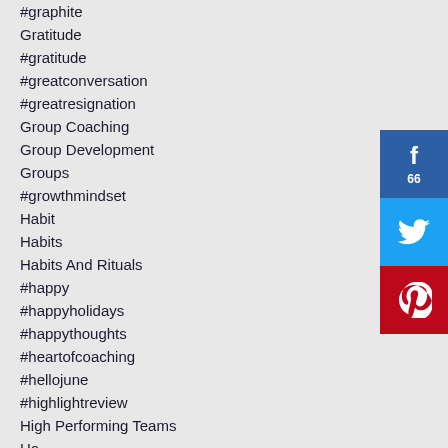#graphite
Gratitude
#gratitude
#greatconversation
#greatresignation
Group Coaching
Group Development
Groups
#growthmindset
Habit
Habits
Habits And Rituals
#happy
#happyholidays
#happythoughts
#heartofcoaching
#hellojune
#highlightreview
High Performing Teams
Ho
[Figure (infographic): Social share buttons: Facebook with count 66, Twitter, Pinterest]